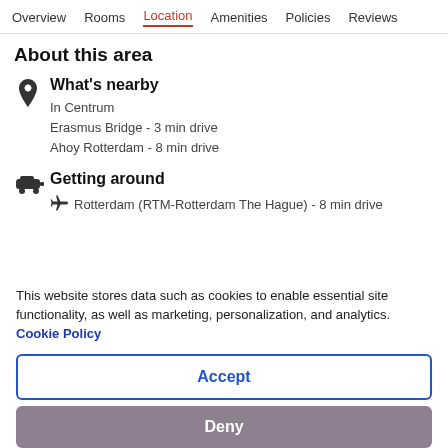Overview  Rooms  Location  Amenities  Policies  Reviews
About this area
What's nearby
In Centrum
Erasmus Bridge - 3 min drive
Ahoy Rotterdam - 8 min drive
Getting around
Rotterdam (RTM-Rotterdam The Hague) - 8 min drive
This website stores data such as cookies to enable essential site functionality, as well as marketing, personalization, and analytics. Cookie Policy
Accept
Deny